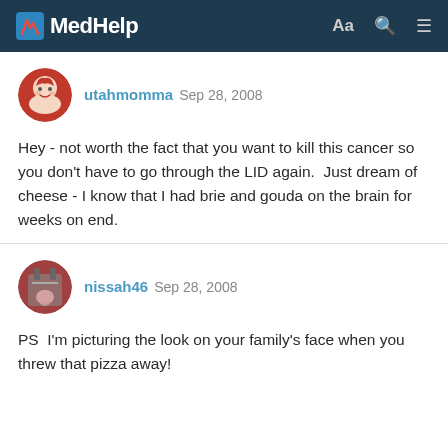MedHelp
utahmomma Sep 28, 2008
Hey - not worth the fact that you want to kill this cancer so you don't have to go through the LID again.  Just dream of cheese - I know that I had brie and gouda on the brain for weeks on end.
Helpful - 0   Comment
nissah46 Sep 28, 2008
PS  I'm picturing the look on your family's face when you threw that pizza away!